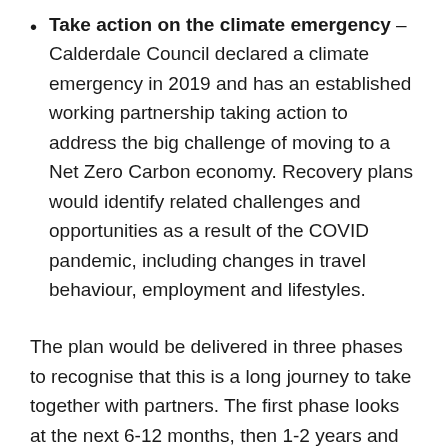Take action on the climate emergency – Calderdale Council declared a climate emergency in 2019 and has an established working partnership taking action to address the big challenge of moving to a Net Zero Carbon economy. Recovery plans would identify related challenges and opportunities as a result of the COVID pandemic, including changes in travel behaviour, employment and lifestyles.
The plan would be delivered in three phases to recognise that this is a long journey to take together with partners. The first phase looks at the next 6-12 months, then 1-2 years and finally focusing on 2-4 years' time. A new Inclusive Economic Recovery Board would also be developed to deliver the plan and drive